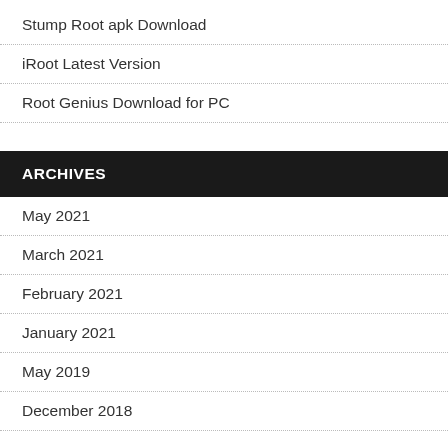Stump Root apk Download
iRoot Latest Version
Root Genius Download for PC
ARCHIVES
May 2021
March 2021
February 2021
January 2021
May 2019
December 2018